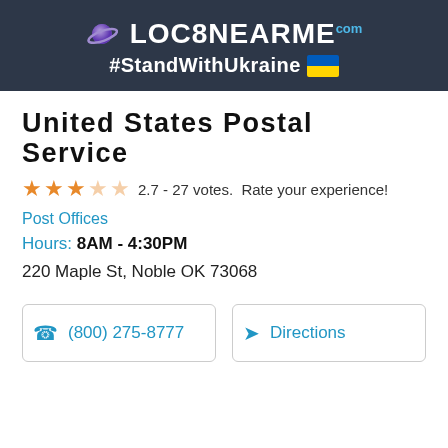LOC8NEARME.com #StandWithUkraine 🇺🇦
United States Postal Service
2.7 - 27 votes.  Rate your experience!
Post Offices
Hours: 8AM - 4:30PM
220 Maple St, Noble OK 73068
(800) 275-8777
Directions